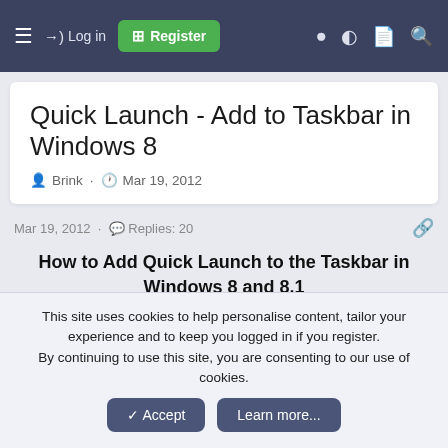≡  →) Log in  [+] Register
Quick Launch - Add to Taskbar in Windows 8
Brink · Mar 19, 2012
Mar 19, 2012 · Replies: 20
How to Add Quick Launch to the Taskbar in Windows 8 and 8.1
Information
This site uses cookies to help personalise content, tailor your experience and to keep you logged in if you register.
By continuing to use this site, you are consenting to our use of cookies.